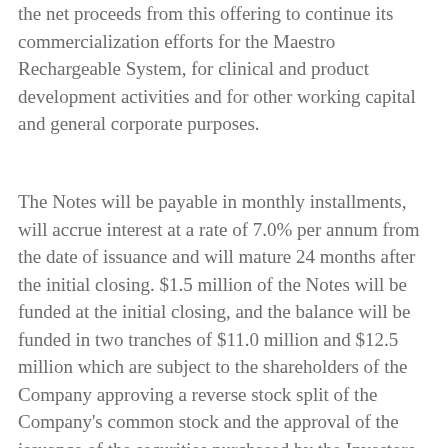the net proceeds from this offering to continue its commercialization efforts for the Maestro Rechargeable System, for clinical and product development activities and for other working capital and general corporate purposes.
The Notes will be payable in monthly installments, will accrue interest at a rate of 7.0% per annum from the date of issuance and will mature 24 months after the initial closing. $1.5 million of the Notes will be funded at the initial closing, and the balance will be funded in two tranches of $11.0 million and $12.5 million which are subject to the shareholders of the Company approving a reverse stock split of the Company's common stock and the approval of the issuance of the securities purchased by the Investors. At each